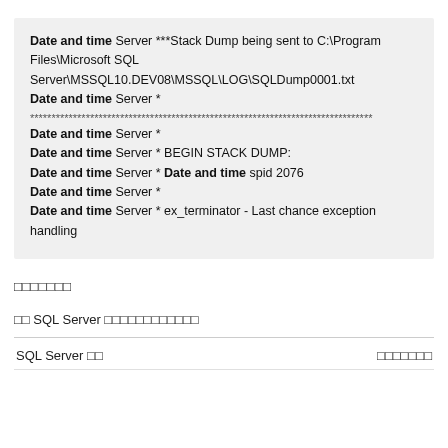Date and time Server ***Stack Dump being sent to C:\Program Files\Microsoft SQL Server\MSSQL10.DEV08\MSSQL\LOG\SQLDump0001.txt
Date and time Server *
****...
Date and time Server *
Date and time Server * BEGIN STACK DUMP:
Date and time Server * Date and time spid 2076
Date and time Server *
Date and time Server * ex_terminator - Last chance exception handling
□□□□□□□
□□ SQL Server □□□□□□□□□□□□
| SQL Server □□ | □□□□□□□ |
| --- | --- |